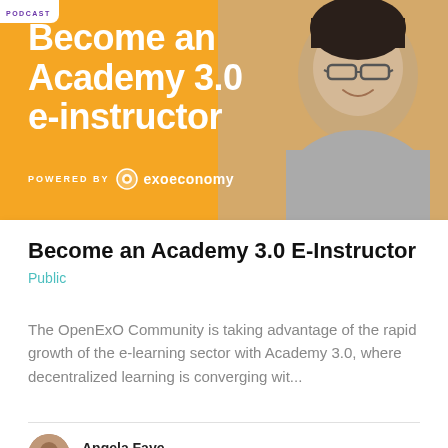[Figure (illustration): Promotional banner with orange background showing text 'Become an Academy 3.0 e-instructor' powered by exoeconomy, with a photo of a smiling woman with glasses and short dark hair wearing a grey sweater, and a small podcast badge in the top-left corner.]
Become an Academy 3.0 E-Instructor  Public
The OpenExO Community is taking advantage of the rapid growth of the e-learning sector with Academy 3.0, where decentralized learning is converging wit...
Angela Faye
17 Jan 2022
ExO Economy